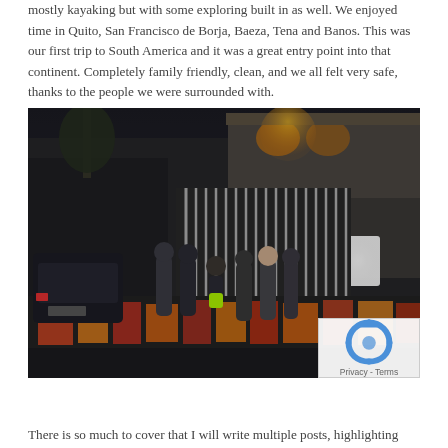mostly kayaking but with some exploring built in as well. We enjoyed time in Quito, San Francisco de Borja, Baeza, Tena and Banos. This was our first trip to South America and it was a great entry point into that continent. Completely family friendly, clean, and we all felt very safe, thanks to the people we were surrounded with.
[Figure (photo): Night-time street photo showing a group of people (adults and a child in neon green shorts) standing on a sidewalk in front of a building with a metal gated fence decorated with colorful graffiti murals. A parked car is visible on the left. Warm yellow lights illuminate the building facade.]
There is so much to cover that I will write multiple posts, highlighting